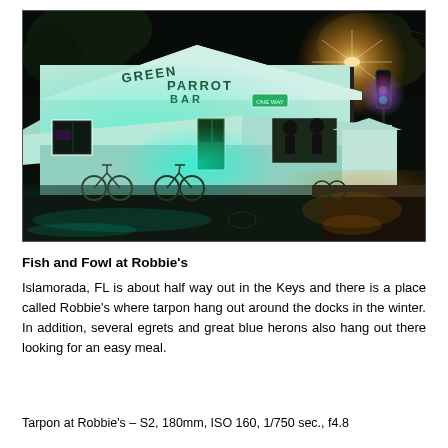[Figure (photo): Night photograph of the Green Parrot Bar, a white wooden building lit with teal/cyan lights. Bicycles parked in front, wet street reflecting the lights, street lamp glowing orange in the background, trees visible.]
Fish and Fowl at Robbie's
Islamorada, FL is about half way out in the Keys and there is a place called Robbie's where tarpon hang out around the docks in the winter. In addition, several egrets and great blue herons also hang out there looking for an easy meal.
Tarpon at Robbie's – S2, 180mm, ISO 160, 1/750 sec., f4.8